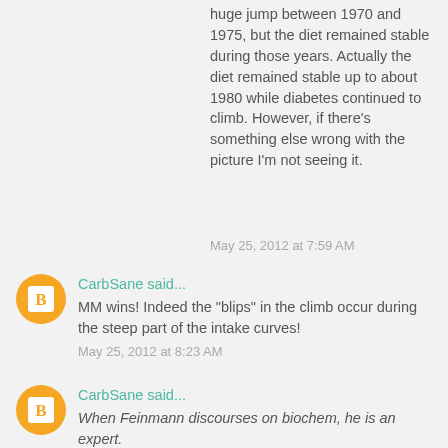huge jump between 1970 and 1975, but the diet remained stable during those years. Actually the diet remained stable up to about 1980 while diabetes continued to climb. However, if there's something else wrong with the picture I'm not seeing it.
May 25, 2012 at 7:59 AM
CarbSane said...
MM wins! Indeed the "blips" in the climb occur during the steep part of the intake curves!
May 25, 2012 at 8:23 AM
CarbSane said...
When Feinmann discourses on biochem, he is an expert.
True, which is why it's so sad the man is (by his own admission) so lacking in understanding of chemical thermodynamics.